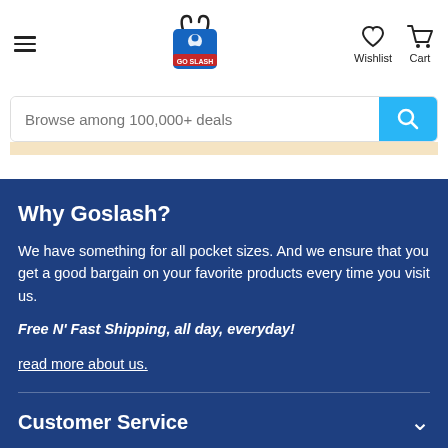Goslash header navigation with hamburger menu, logo, Wishlist, Cart
[Figure (screenshot): Goslash shopping bag logo — blue bag with red ribbon and person icon, text GO SLASH on ribbon]
Browse among 100,000+ deals
Why Goslash?
We have something for all pocket sizes. And we ensure that you get a good bargain on your favorite products every time you visit us.
Free N' Fast Shipping, all day, everyday!
read more about us.
Customer Service